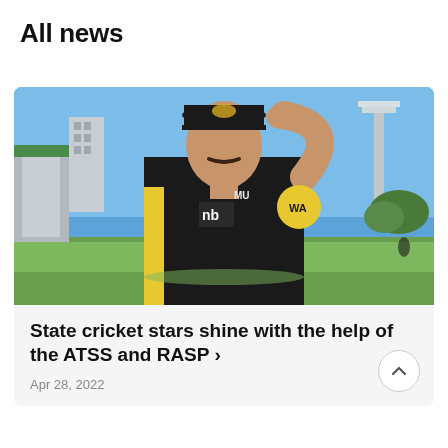All news
[Figure (photo): Young male cricket player in black and yellow WA cricket uniform touching the brim of his black cap, standing on a cricket oval with stadium seating and blue sky in background.]
State cricket stars shine with the help of the ATSS and RASP >
Apr 28, 2022